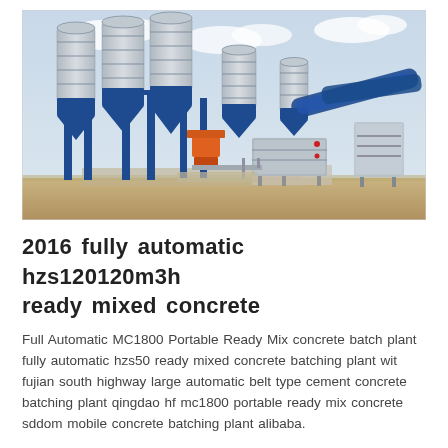[Figure (photo): Outdoor photograph of a large concrete batching plant with multiple tall blue and white cylindrical silos, blue steel framework, conveyor belts, and industrial mixing equipment on a sandy ground with a cloudy sky background.]
2016 fully automatic hzs120120m3h ready mixed concrete
Full Automatic MC1800 Portable Ready Mix concrete batch plant fully automatic hzs50 ready mixed concrete batching plant wit fujian south highway large automatic belt type cement concrete batching plant qingdao hf mc1800 portable ready mix concrete sddom mobile concrete batching plant alibaba.